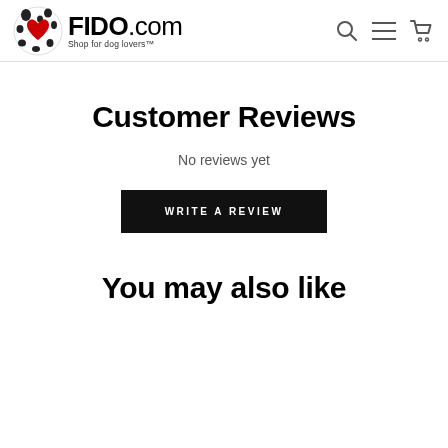FIDO.com Shop for dog lovers
Customer Reviews
No reviews yet
WRITE A REVIEW
You may also like